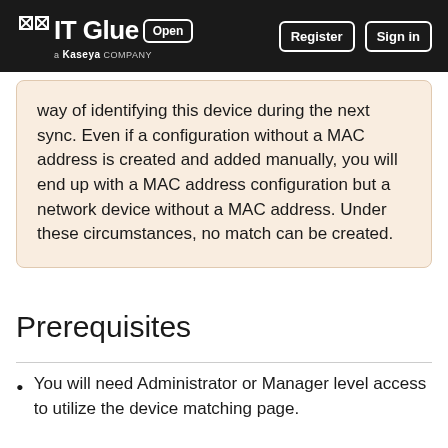IT Glue | Open | Register | Sign in
way of identifying this device during the next sync. Even if a configuration without a MAC address is created and added manually, you will end up with a MAC address configuration but a network device without a MAC address. Under these circumstances, no match can be created.
Prerequisites
You will need Administrator or Manager level access to utilize the device matching page.